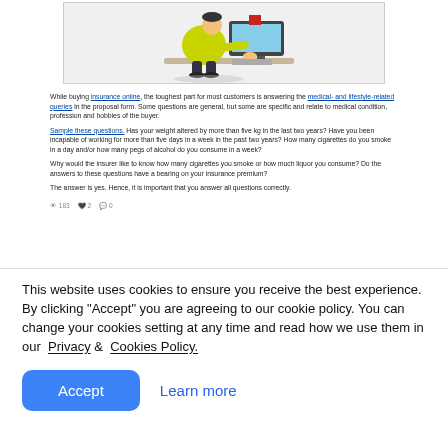[Figure (illustration): A cartoon illustration of a person in a yellow jacket sitting at a computer desk, typing. There is a large monitor visible in the background.]
While buying insurance online, the toughest part for most customers is answering the medical- and lifestyle-related queries in the proposal form. Some questions are general, but some are specific and relate to medical condition, profession and hobbies of the buyer.
Sample these questions. Has your weight altered by more than five kg in the last two years? Have you been incapable of working for more than five days in a week in the past two years? How many cigarettes do you smoke in a day and/or how many pegs of alcohol do you consume in a week?
Why would the insurer like to know how many cigarettes you smoke or how much liquor you consume? Do the answers to these questions have a bearing on your insurance premium?
The answer is yes. Hence, it is important that you answer all questions correctly.
183  2  0
This website uses cookies to ensure you receive the best experience. By clicking "Accept" you are agreeing to our cookie policy. You can change your cookies setting at any time and read how we use them in our Privacy & Cookies Policy.
Accept   Learn more